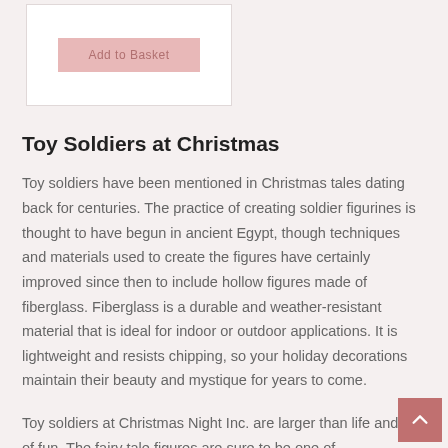[Figure (screenshot): Add to Basket button in a pink/light red box, part of an e-commerce product listing UI]
Toy Soldiers at Christmas
Toy soldiers have been mentioned in Christmas tales dating back for centuries. The practice of creating soldier figurines is thought to have begun in ancient Egypt, though techniques and materials used to create the figures have certainly improved since then to include hollow figures made of fiberglass. Fiberglass is a durable and weather-resistant material that is ideal for indoor or outdoor applications. It is lightweight and resists chipping, so your holiday decorations maintain their beauty and mystique for years to come.
Toy soldiers at Christmas Night Inc. are larger than life and full of fun. The fairy tale figures are sure to be one of